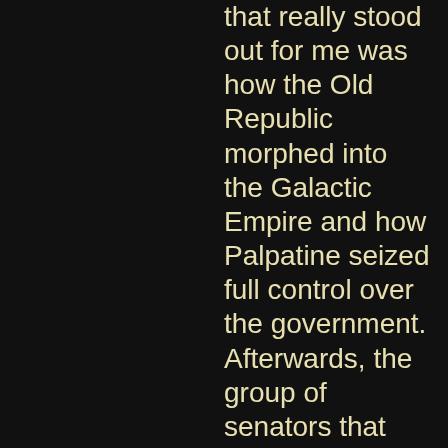that really stood out for me was how the Old Republic morphed into the Galactic Empire and how Palpatine seized full control over the government. Afterwards, the group of senators that really represented the old core values of the Old Republic was suddenly blindsided by this and was like, "Fuck, now we need to organize a Rebellion